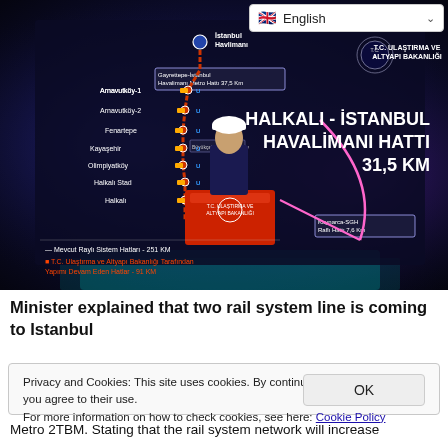🇬🇧 English
[Figure (photo): A government minister in a white hard hat standing at a podium in front of a large screen. The screen displays a rail/metro line map of Istanbul with the text 'HALKALI - İSTANBUL HAVALİMANI HATTI 31,5 KM' and shows route stations including Arnavutköy-1, Arnavutköy-2, Fenartepe, Kayaşehir, Olimpiyatköy, Halkalı Stad, Halkalı. Also shows Gayrettepe-İstanbul Havalimanı Metro Hattı 37,5 Km and Kayarca-SGH Raflı Hattı 7,6 Km. Bottom text shows Mevcut Raylı Sistem Hatları - 251 KM and T.C. Ulaştırma ve Altyapı Bakanlığı Tarafından Yapımı Devam Eden Hatlar - 91 KM. Ministry logo top right: T.C. ULAŞTIRMA VE ALTYAPI BAKANLIĞI.]
Minister explained that two rail system line is coming to Istanbul
Privacy and Cookies: This site uses cookies. By continuing to use this website, you agree to their use.
For more information on how to check cookies, see here: Cookie Policy
Metro 2TBM. Stating that the rail system network will increase